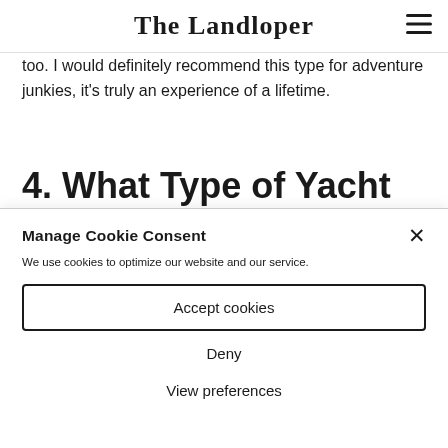The Landloper
too. I would definitely recommend this type for adventure junkies, it's truly an experience of a lifetime.
4. What Type of Yacht
Manage Cookie Consent
We use cookies to optimize our website and our service.
Accept cookies
Deny
View preferences